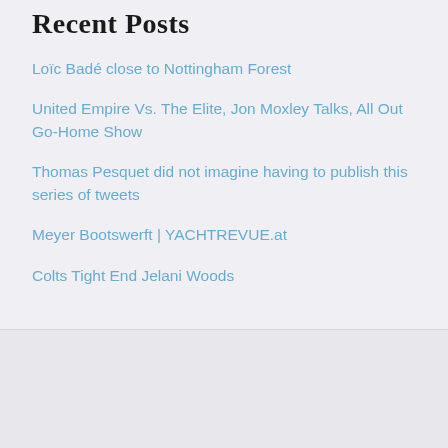Recent Posts
Loïc Badé close to Nottingham Forest
United Empire Vs. The Elite, Jon Moxley Talks, All Out Go-Home Show
Thomas Pesquet did not imagine having to publish this series of tweets
Meyer Bootswerft | YACHTREVUE.at
Colts Tight End Jelani Woods